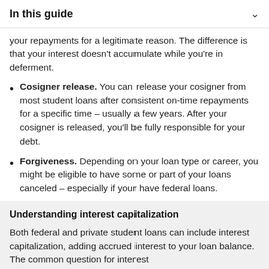In this guide
your repayments for a legitimate reason. The difference is that your interest doesn't accumulate while you're in deferment.
Cosigner release. You can release your cosigner from most student loans after consistent on-time repayments for a specific time – usually a few years. After your cosigner is released, you'll be fully responsible for your debt.
Forgiveness. Depending on your loan type or career, you might be eligible to have some or part of your loans canceled – especially if your have federal loans.
Understanding interest capitalization
Both federal and private student loans can include interest capitalization, adding accrued interest to your loan balance. The common question for interest...